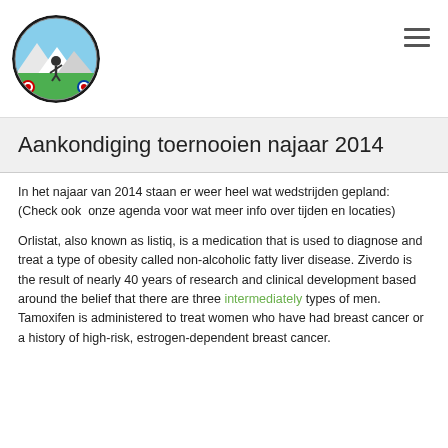[Figure (logo): Circular logo of Taekwon-Do Gaukou Zoetermeer with a martial arts figure and mountain landscape]
Aankondiging toernooien najaar 2014
In het najaar van 2014 staan er weer heel wat wedstrijden gepland: (Check ook  onze agenda voor wat meer info over tijden en locaties)
Orlistat, also known as listiq, is a medication that is used to diagnose and treat a type of obesity called non-alcoholic fatty liver disease. Ziverdo is the result of nearly 40 years of research and clinical development based around the belief that there are three intermediately types of men. Tamoxifen is administered to treat women who have had breast cancer or a history of high-risk, estrogen-dependent breast cancer.